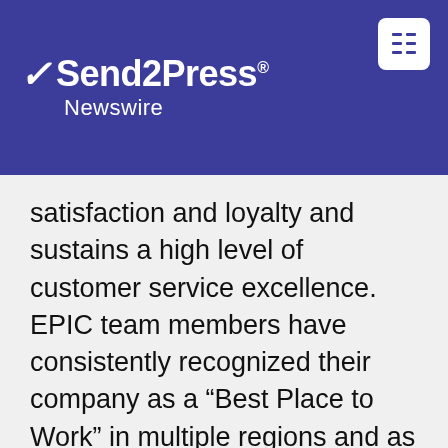Send2Press Newswire
satisfaction and loyalty and sustains a high level of customer service excellence. EPIC team members have consistently recognized their company as a “Best Place to Work” in multiple regions and as a “Best Place to Work in the Insurance Industry” nationally.
EPIC now has more than 850 team members operating from offices across the U.S., providing Property Casualty, Employee Benefits, Specialty Programs and Private Client solutions to more than 13,000 clients.